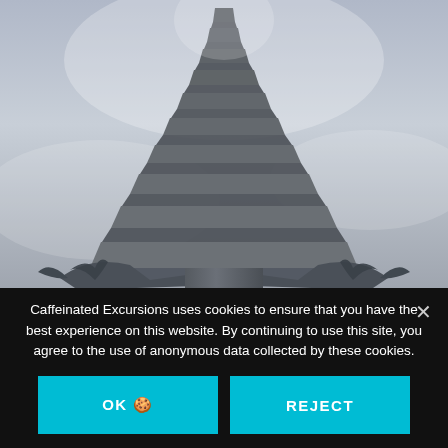[Figure (photo): Looking up at a tall multi-tiered pagoda tower against a grey overcast sky. The pagoda has approximately 13 tiers narrowing toward the top. At the base of the tower are ornate rooflines with curved eaves and decorative dragon or phoenix figures on the corners.]
Caffeinated Excursions uses cookies to ensure that you have the best experience on this website. By continuing to use this site, you agree to the use of anonymous data collected by these cookies.